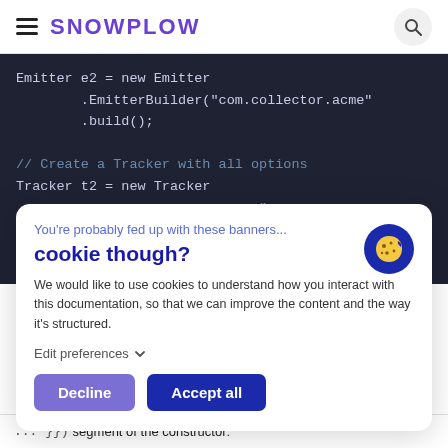SNOWPLOW
[Figure (screenshot): Dark-background code block showing Java Emitter and Tracker instantiation code]
You're probably fed up with these banners...
cookie though?
We would like to use cookies to understand how you interact with this documentation, so that we can improve the content and the way it's structured.
Edit preferences
Decline   Accept all
... }}) segment of the constructor: